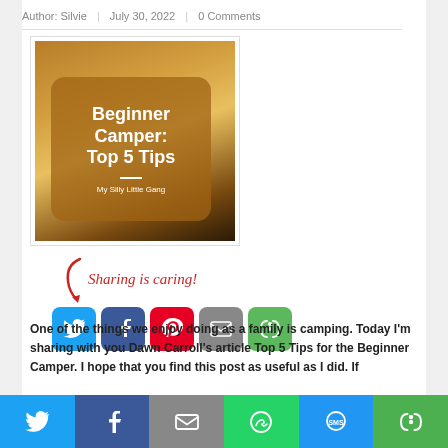Author: Silvie | July 30, 2022 | 0 Comments
[Figure (illustration): Book/blog post cover image titled 'Beginner Camper: Top 5 Tips' by My Silly Little Gang, with sunset/outdoor background and brown rounded overlay]
[Figure (infographic): Sharing is caring! section with red handwritten text and arrow, social share buttons: Twitter (blue), Facebook (dark blue), Pinterest (red), Email (gray), More (green)]
One of the things we enjoy doing as a family is camping. Today I'm sharing with you Dawn Carroll's article Top 5 Tips for the Beginner Camper. I hope that you find this post as useful as I did. If
Social share bar: Twitter, Facebook, Email, WhatsApp, SMS, More